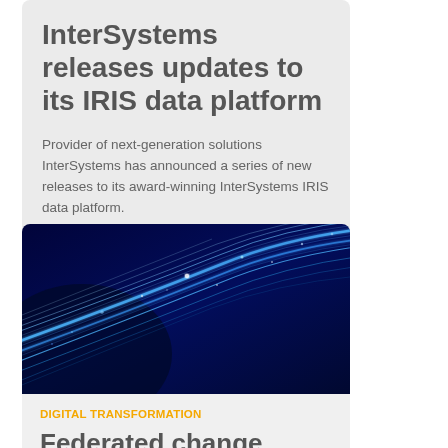InterSystems releases updates to its IRIS data platform
Provider of next-generation solutions InterSystems has announced a series of new releases to its award-winning InterSystems IRIS data platform.
[Figure (photo): Abstract technology background with glowing blue light streaks/lines on dark blue background, representing digital data streams]
DIGITAL TRANSFORMATION
Federated change